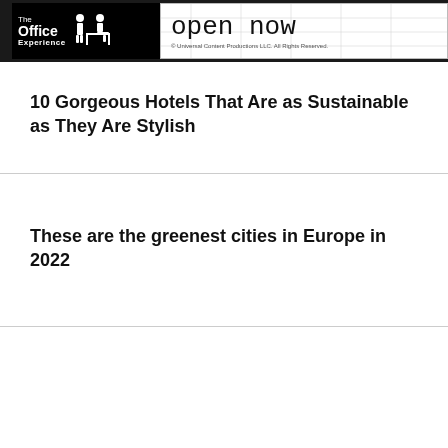The Office Experience | open now | © Universal Content Productions LLC. All Rights Reserved.
10 Gorgeous Hotels That Are as Sustainable as They Are Stylish
These are the greenest cities in Europe in 2022